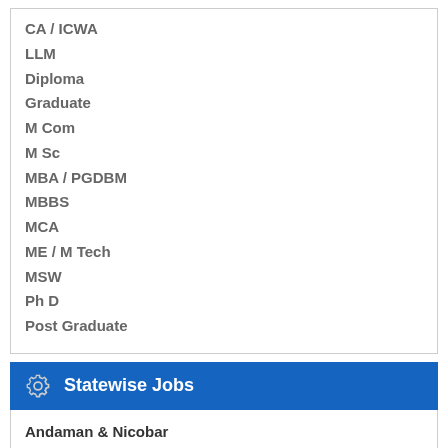CA / ICWA
LLM
Diploma
Graduate
M Com
M Sc
MBA / PGDBM
MBBS
MCA
ME / M Tech
MSW
Ph D
Post Graduate
Statewise Jobs
Andaman & Nicobar
Arunachal Pradesh
Assam